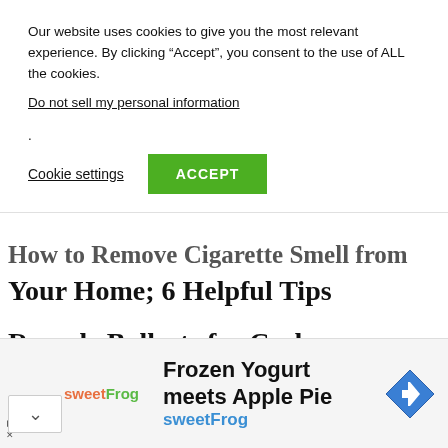Our website uses cookies to give you the most relevant experience. By clicking “Accept”, you consent to the use of ALL the cookies.
Do not sell my personal information.
Cookie settings   ACCEPT
How to Remove Cigarette Smell from Your Home; 6 Helpful Tips
Recycle Ballasts for Cash: Definitive Scrapping Guide
How Do Silent Auctions Work? A
[Figure (infographic): Advertisement banner for sweetFrog frozen yogurt. Shows sweetFrog logo on left, text 'Frozen Yogurt meets Apple Pie' and 'sweetFrog' in blue, and a blue navigation/direction diamond icon on the right.]